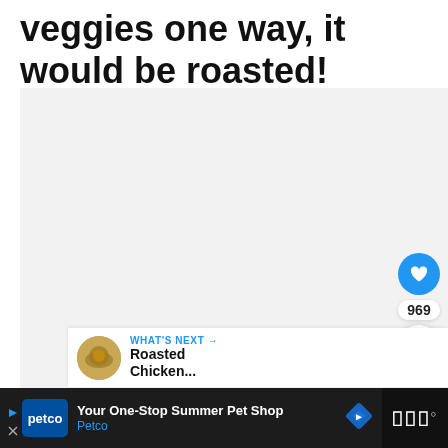veggies one way, it would be roasted!
[Figure (photo): Large light gray image area placeholder for a food photo]
969
WHAT'S NEXT → Roasted Chicken...
Your One-Stop Summer Pet Shop Petco